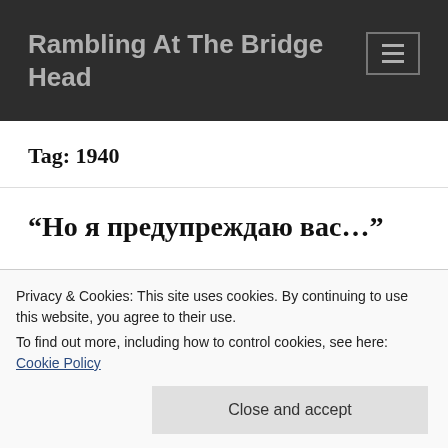Rambling At The Bridge Head
Tag: 1940
“Но я предупреждаю вас…”
Privacy & Cookies: This site uses cookies. By continuing to use this website, you agree to their use.
To find out more, including how to control cookies, see here: Cookie Policy
I am living for the last time.